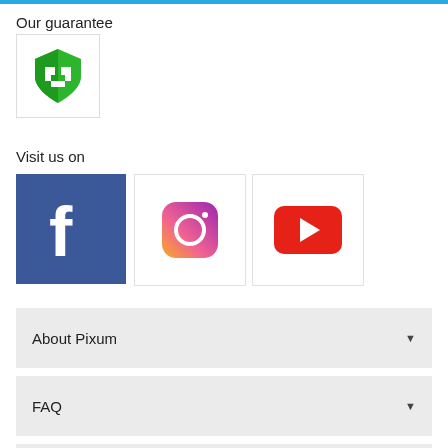Our guarantee
[Figure (illustration): Green and white shield security/guarantee icon]
Visit us on
[Figure (logo): Facebook logo - white f on blue background]
[Figure (logo): Instagram logo - gradient camera icon]
[Figure (logo): YouTube logo - red rectangle with white play triangle]
About Pixum
FAQ
News and Promotions